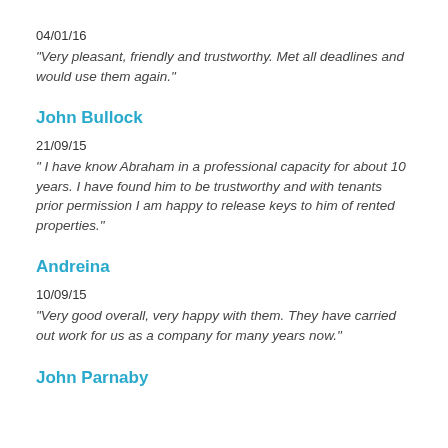04/01/16
"Very pleasant, friendly and trustworthy. Met all deadlines and would use them again."
John Bullock
21/09/15
" I have know Abraham in a professional capacity for about 10 years. I have found him to be trustworthy and with tenants prior permission I am happy to release keys to him of rented properties."
Andreina
10/09/15
"Very good overall, very happy with them. They have carried out work for us as a company for many years now."
John Parnaby